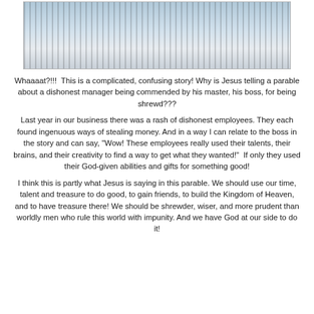[Figure (photo): Photo of papers/artwork laid out on a dark surface, appearing to show illustrated or printed pages with blue and white imagery]
Whaaaat?!!!  This is a complicated, confusing story! Why is Jesus telling a parable about a dishonest manager being commended by his master, his boss, for being shrewd???
Last year in our business there was a rash of dishonest employees. They each found ingenuous ways of stealing money. And in a way I can relate to the boss in the story and can say, "Wow! These employees really used their talents, their brains, and their creativity to find a way to get what they wanted!"  If only they used their God-given abilities and gifts for something good!
I think this is partly what Jesus is saying in this parable. We should use our time, talent and treasure to do good, to gain friends, to build the Kingdom of Heaven, and to have treasure there! We should be shrewder, wiser, and more prudent than worldly men who rule this world with impunity. And we have God at our side to do it!